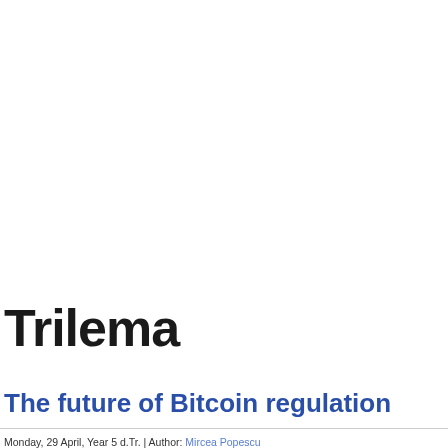Trilema
The future of Bitcoin regulation
Monday, 29 April, Year 5 d.Tr. | Author: Mircea Popescu